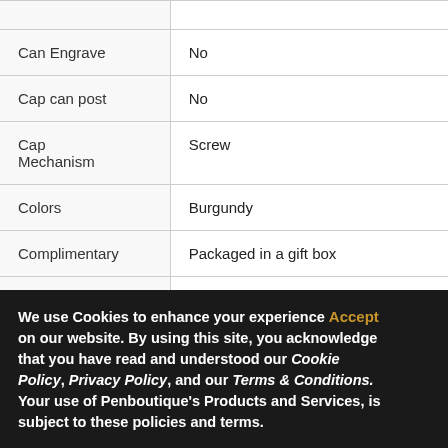| Property | Value |
| --- | --- |
| Can Engrave | No |
| Cap can post | No |
| Cap Mechanism | Screw |
| Colors | Burgundy |
| Complimentary | Packaged in a gift box |
| Dimensions | 5.7" L x 0.6" D |
| Filling Mechanisms | Piston Filling |
We use Cookies to enhance your experience on our website. By using this site, you acknowledge that you have read and understood our Cookie Policy, Privacy Policy, and our Terms & Conditions. Your use of Penboutique's Products and Services, is subject to these policies and terms.